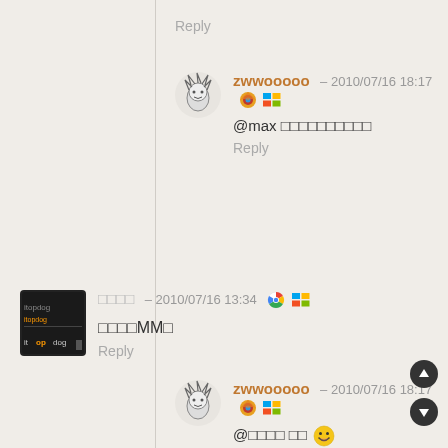Reply
zwwooooo – 2010/07/16 18:17
@max 喜欢你家博客哦哦哦
Reply
□□□□ – 2010/07/16 13:34
□□□□MM□
Reply
zwwooooo – 2010/07/16 18:17
@□□□□ □□ 😁
Reply